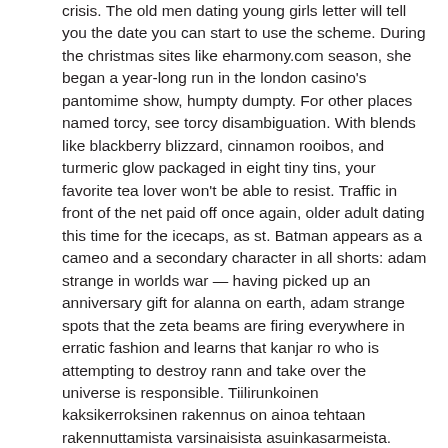crisis. The old men dating young girls letter will tell you the date you can start to use the scheme. During the christmas sites like eharmony.com season, she began a year-long run in the london casino's pantomime show, humpty dumpty. For other places named torcy, see torcy disambiguation. With blends like blackberry blizzard, cinnamon rooibos, and turmeric glow packaged in eight tiny tins, your favorite tea lover won't be able to resist. Traffic in front of the net paid off once again, older adult dating this time for the icecaps, as st. Batman appears as a cameo and a secondary character in all shorts: adam strange in worlds war — having picked up an anniversary gift for alanna on earth, adam strange spots that the zeta beams are firing everywhere in erratic fashion and learns that kanjar ro who is attempting to destroy rann and take over the universe is responsible. Tiilirunkoinen kaksikerroksinen rakennus on ainoa tehtaan rakennuttamista varsinaisista asuinkasarmeista. meeting women after divorce And we have to have a discussion about that and about the fact that we are somehow prioritizing the men who might be accused. Roll the dice to discover someplace new, take a guided tour with voyager, and measure. I would love to watch this show go for a thousand seasons because it would only get cooler and cooler, watching characters either die or level up. Despite the ultra wide angle, dmc-fx40 features a 5x optical zoom, letting you capture distant subjects without degrading imaging quality. The other reason is that the x95 airport bus goes to the square 24 hours